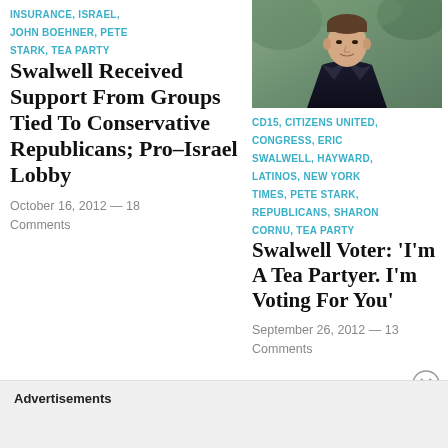INSURANCE, ISRAEL, JOHN BOEHNER, PETE STARK, TEA PARTY
Swalwell Received Support From Groups Tied To Conservative Republicans; Pro–Israel Lobby
October 16, 2012 — 18 Comments
[Figure (photo): Headshot photo of a man in dark suit with light blue tie, outdoors with blurred green background]
CD15, CITIZENS UNITED, CONGRESS, ERIC SWALWELL, HAYWARD, LATINOS, NEW YORK TIMES, PETE STARK, REPUBLICANS, SHARON CORNU, TEA PARTY
Swalwell Voter: 'I'm A Tea Partyer. I'm Voting For You'
September 26, 2012 — 13 Comments
Advertisements